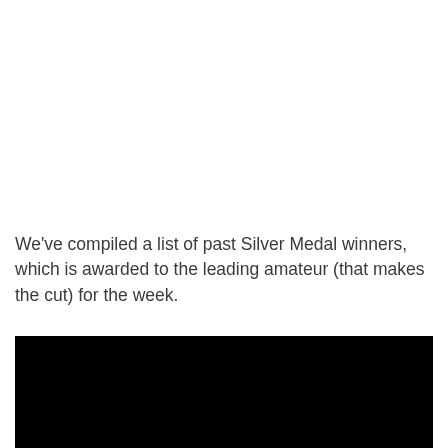We've compiled a list of past Silver Medal winners, which is awarded to the leading amateur (that makes the cut) for the week.
[Figure (other): Black redacted/obscured rectangle]